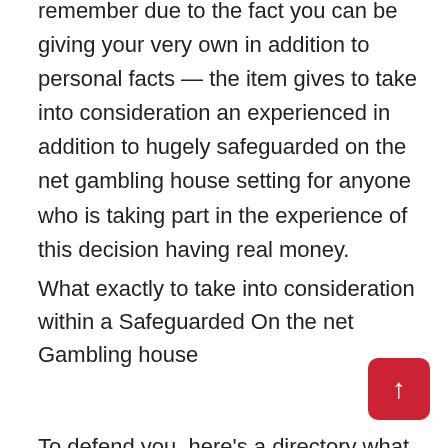remember due to the fact you can be giving your very own in addition to personal facts — the item gives to take into consideration an experienced in addition to hugely safeguarded on the net gambling house setting for anyone who is taking part in the experience of this decision having real money.
What exactly to take into consideration within a Safeguarded On the net Gambling house
To defend you, here's a directory what that you should contemplate as soon as looking for a safeguarded on the net setting:
1. Talk to ones texas hold'em friends if you experienced unique web page them to choose to engage in on the net gambling house video game titles on. Referral